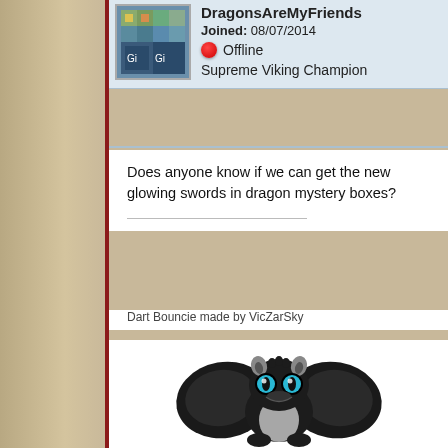DragonsAreMyFriends   Joined: 08/07/2014
Offline
Supreme Viking Champion
Does anyone know if we can get the new glowing swords in dragon mystery boxes?
Dart Bouncie made by VicZarSky
[Figure (illustration): Cartoon illustration of a black Night Fury dragon (Toothless style) with blue eyes, spread wings, and a light gray belly, smiling, in a chibi/bouncie style]